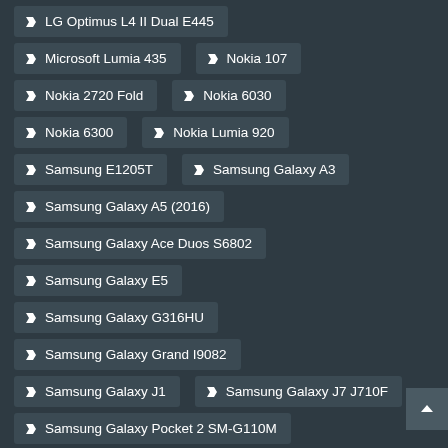LG Optimus L4 II Dual E445
Microsoft Lumia 435
Nokia 107
Nokia 2720 Fold
Nokia 6030
Nokia 6300
Nokia Lumia 920
Samsung E1205T
Samsung Galaxy A3
Samsung Galaxy A5 (2016)
Samsung Galaxy Ace Duos S6802
Samsung Galaxy E5
Samsung Galaxy G316HU
Samsung Galaxy Grand I9082
Samsung Galaxy J1
Samsung Galaxy J7 J710F
Samsung Galaxy Pocket 2 SM-G110M
Samsung Galaxy Pocket Neo S5310